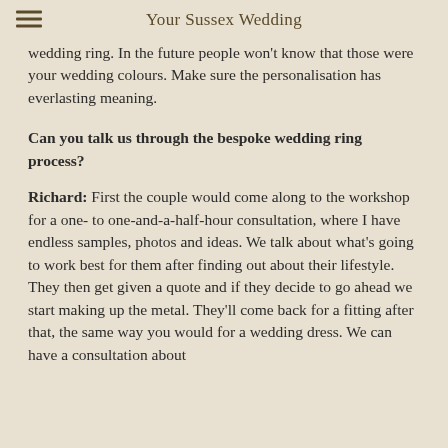Your Sussex Wedding
wedding ring. In the future people won't know that those were your wedding colours. Make sure the personalisation has everlasting meaning.
Can you talk us through the bespoke wedding ring process?
Richard: First the couple would come along to the workshop for a one- to one-and-a-half-hour consultation, where I have endless samples, photos and ideas. We talk about what's going to work best for them after finding out about their lifestyle. They then get given a quote and if they decide to go ahead we start making up the metal. They'll come back for a fitting after that, the same way you would for a wedding dress. We can have a consultation about